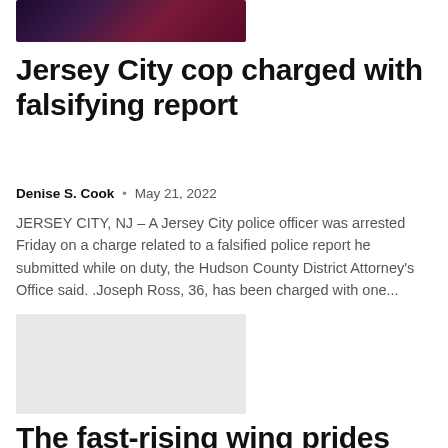[Figure (photo): Dark photo with red and purple tones, likely a night scene]
Jersey City cop charged with falsifying report
Denise S. Cook  •  May 21, 2022
JERSEY CITY, NJ – A Jersey City police officer was arrested Friday on a charge related to a falsified police report he submitted while on duty, the Hudson County District Attorney's Office said. .Joseph Ross, 36, has been charged with one...
[Figure (photo): Light gray placeholder image for a second article]
The fast-rising wing prides